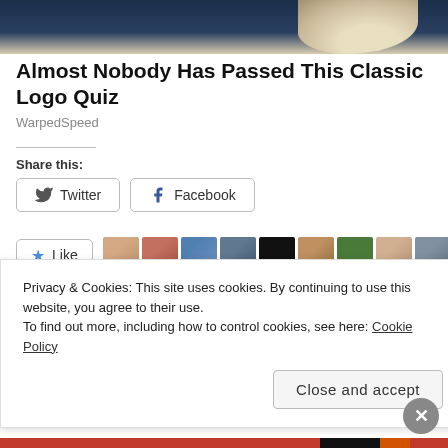[Figure (photo): Top portion of a person in a dark jacket with a beige/cream scarf or collar visible, cropped web screenshot header]
Almost Nobody Has Passed This Classic Logo Quiz
WarpedSpeed
Share this:
[Figure (screenshot): Twitter and Facebook share buttons]
[Figure (screenshot): Like button with star icon and 10 blogger avatars]
15 bloggers like this.
CHANGE
CORONAVIRUS
COVID19
DAY 22: TEMPO
DISCOVER PROMPTS
WISH
Privacy & Cookies: This site uses cookies. By continuing to use this website, you agree to their use. To find out more, including how to control cookies, see here: Cookie Policy
Close and accept